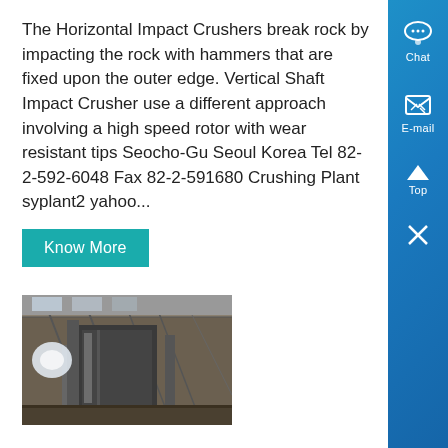The Horizontal Impact Crushers break rock by impacting the rock with hammers that are fixed upon the outer edge. Vertical Shaft Impact Crusher use a different approach involving a high speed rotor with wear resistant tips Seocho-Gu Seoul Korea Tel 82-2-592-6048 Fax 82-2-592-1680 Crushing Plant syplant2 yahoo...
Know More
[Figure (photo): Industrial photo of a vertical shaft impact crusher machine inside a factory/warehouse building with steel structure and roof visible]
Vertical Shaft Impact Crushers
Vertical Shaft Impact VSI crushers are designed to be used in secondary tertiary or quaternary stage crushing...